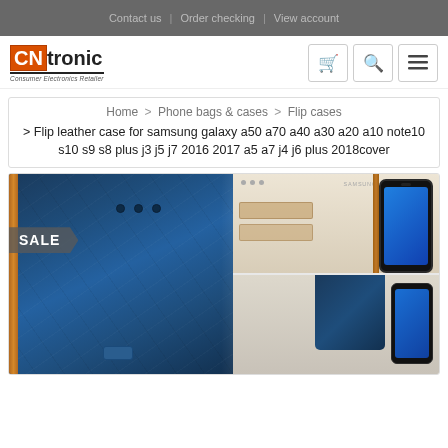Contact us  |  Order checking  |  View account
[Figure (logo): CNtronic Consumer Electronics Retailer logo with orange CN block and black tronic text]
Home > Phone bags & cases > Flip cases > Flip leather case for samsung galaxy a50 a70 a40 a30 a20 a10 note10 s10 s9 s8 plus j3 j5 j7 2016 2017 a5 a7 j4 j6 plus 2018cover
[Figure (photo): Product photo of blue flip leather case for Samsung Galaxy showing front and back views with phone inserted, SALE badge overlay]